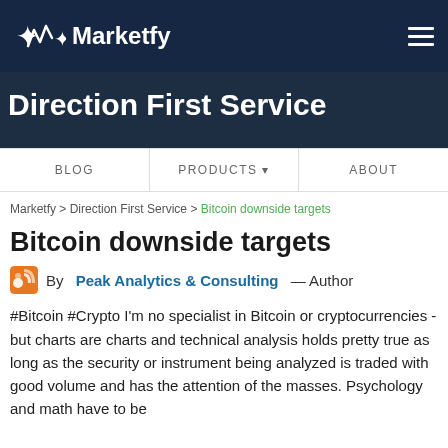Marketfy
Direction First Service
BLOG   PRODUCTS ▼   ABOUT
Marketfy > Direction First Service > Bitcoin downside targets
Bitcoin downside targets
By Peak Analytics & Consulting — Author
#Bitcoin #Crypto I'm no specialist in Bitcoin or cryptocurrencies - but charts are charts and technical analysis holds pretty true as long as the security or instrument being analyzed is traded with good volume and has the attention of the masses. Psychology and math have to be